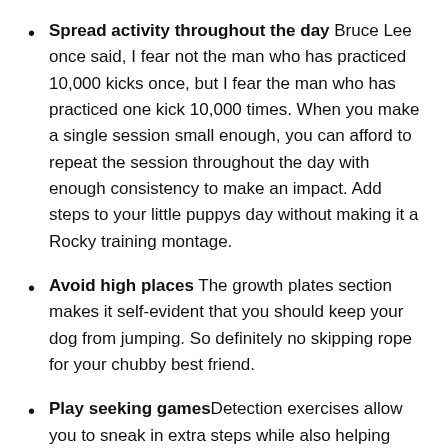Spread activity throughout the day Bruce Lee once said, I fear not the man who has practiced 10,000 kicks once, but I fear the man who has practiced one kick 10,000 times. When you make a single session small enough, you can afford to repeat the session throughout the day with enough consistency to make an impact. Add steps to your little puppys day without making it a Rocky training montage.
Avoid high places The growth plates section makes it self-evident that you should keep your dog from jumping. So definitely no skipping rope for your chubby best friend.
Play seeking games Detection exercises allow you to sneak in extra steps while also helping your GSD develop better cognition. Interestingly, such games also decrease running speed as dogs are more deliberate in processing where the hidden prize is.